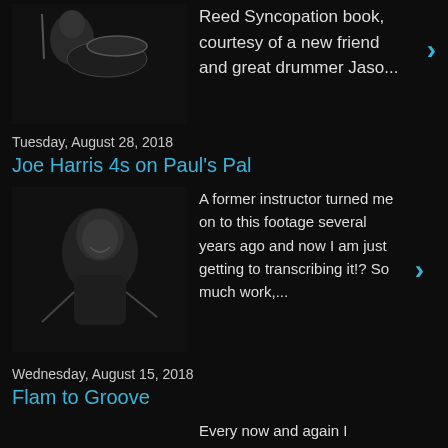[Figure (photo): Black and white photo of a drummer at a drum kit with cymbal visible]
Reed Syncopation book, courtesy of a new friend and great drummer Jaso...
Tuesday, August 28, 2018
Joe Harris 4s on Paul's Pal
[Figure (photo): Black and white photo of a man smiling, holding drumsticks]
A former instructor turned me on to this footage several years ago and now I am just getting to transcribing it!? So much work,...
Wednesday, August 15, 2018
Flam to Groove
Every now and again I come across an exercise that I don't like. I want to like it. I know I would be a better person if I liked it. But...
Friday, August 3, 2018
Transcribe Damnit!